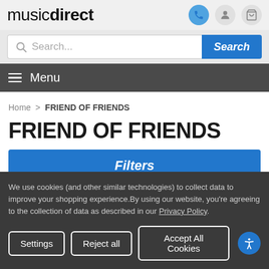musicdirect
Search...
Menu
Home > FRIEND OF FRIENDS
FRIEND OF FRIENDS
Filters
We use cookies (and other similar technologies) to collect data to improve your shopping experience.By using our website, you're agreeing to the collection of data as described in our Privacy Policy.
Settings  Reject all  Accept All Cookies